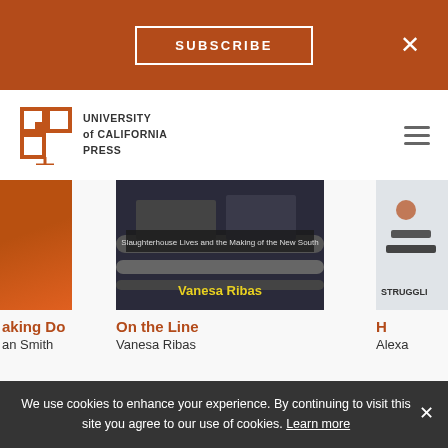SUBSCRIBE
[Figure (logo): University of California Press logo with open book icon and text UNIVERSITY of CALIFORNIA PRESS]
[Figure (photo): Book cover: On the Line by Vanesa Ribas - Slaughterhouse Lives and the Making of the New South, showing industrial machinery]
aking Do
an Smith
On the Line
Vanesa Ribas
H
Alexa
We use cookies to enhance your experience. By continuing to visit this site you agree to our use of cookies. Learn more